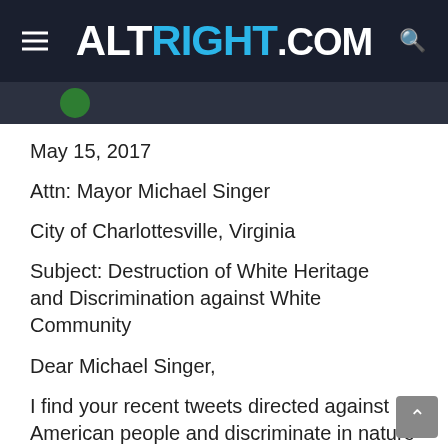ALTRIGHT.COM
May 15, 2017
Attn: Mayor Michael Singer
City of Charlottesville, Virginia
Subject: Destruction of White Heritage and Discrimination against White Community
Dear Michael Singer,
I find your recent tweets directed against American people and discriminate in nature against the White Community of Charlottesville, VA and the USA. Your